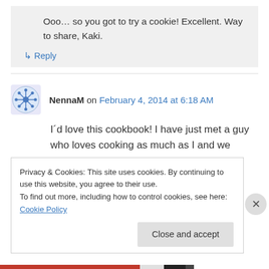Ooo… so you got to try a cookie! Excellent. Way to share, Kaki.
↳ Reply
NennaM on February 4, 2014 at 6:18 AM
I´d love this cookbook! I have just met a guy who loves cooking as much as I and we could enjoy this book together:D
Privacy & Cookies: This site uses cookies. By continuing to use this website, you agree to their use. To find out more, including how to control cookies, see here: Cookie Policy
Close and accept